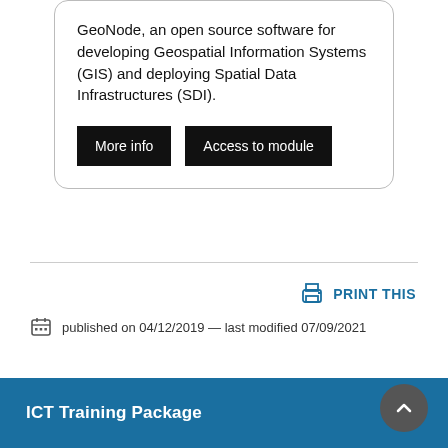GeoNode, an open source software for developing Geospatial Information Systems (GIS) and deploying Spatial Data Infrastructures (SDI).
More info | Access to module
PRINT THIS
published on 04/12/2019 — last modified 07/09/2021
ICT Training Package